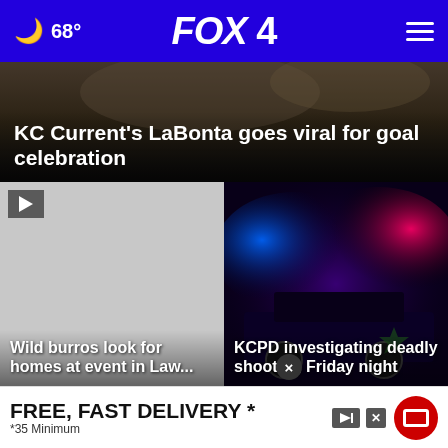🌙 68° FOX 4
[Figure (photo): Dark background hero image, partial view of people]
KC Current's LaBonta goes viral for goal celebration
[Figure (photo): Left card: gray placeholder with play button icon. Caption: Wild burros look for homes at event in Lawrence]
Wild burros look for homes at event in Lawrence
[Figure (photo): Right card: police car with blue and red flashing lights at night. Caption: KCPD investigating deadly shooting Friday night]
KCPD investigating deadly shooting Friday night
[Figure (screenshot): Advertisement banner: FREE, FAST DELIVERY * *35 Minimum with red circle icon and close button]